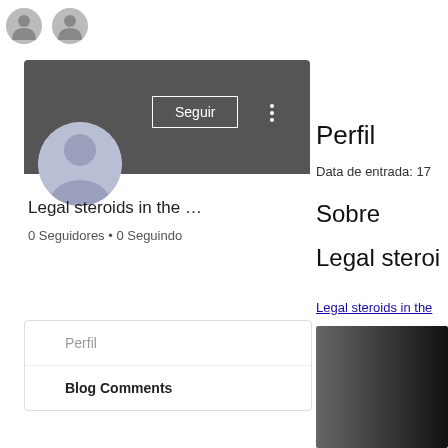[Figure (screenshot): Two gray circular icon placeholders in the top-left corner]
[Figure (screenshot): Social media profile card with dark gray banner, circular avatar placeholder, Seguir (Follow) button, three-dot menu, username 'Legal steroids in the ...', and stats '0 Seguidores • 0 Seguindo']
Legal steroids in the …
0 Seguidores • 0 Seguindo
Perfil
Blog Comments
Perfil
Data de entrada: 17
Sobre
Legal steroi
Legal steroids in the
[Figure (screenshot): Dark gradient image preview on the bottom right]